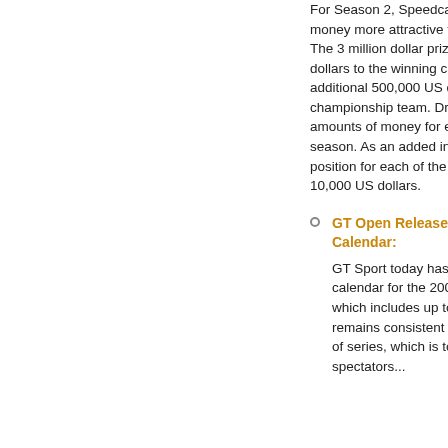For Season 2, Speedcar Series is making the prize money more attractive to teams and drivers alike. The 3 million dollar prize pot includes 500,000 US dollars to the winning championship driver and additional 500,000 US dollars to the winning championship team. Drivers will also win pre-determined amounts of money for each of the 12 races through the season. As an added incentive drivers on pole position for each of the 6 rounds will be awarded 10,000 US dollars.
GT Open Releases Provisional 2009 Calendar: GT Sport today has released the provisional calendar for the 2009 International GT Open, which includes up to nine two-race events and remains consistent with one of the basic principles of the series, which is to offer its participants, spectators...